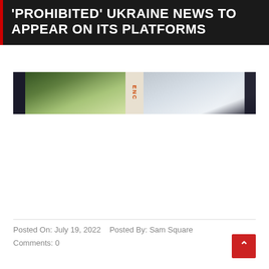'PROHIBITED' UKRAINE NEWS TO APPEAR ON ITS PLATFORMS
[Figure (photo): A blurred photograph showing what appears to be a view through a window or door frame. The left portion shows green outdoor scenery (trees/fields), the center has a dark vertical element with text reading 'ENC' in orange/red, and the right portion shows a lighter outdoor scene with dark curtains on the far right.]
Posted On: July 19, 2022    Posted By: Sam Square
Comments: 0